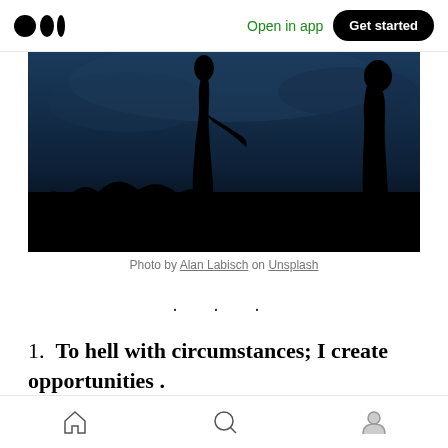Medium logo | Open in app | Get started
[Figure (photo): Dark silhouette photo of two people at dusk against a deep blue sky, taken by Alan Labisch on Unsplash]
Photo by Alan Labisch on Unsplash
· · ·
1. To hell with circumstances; I create opportunities .
Home | Search | Profile icons